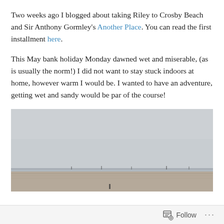Two weeks ago I blogged about taking Riley to Crosby Beach and Sir Anthony Gormley's Another Place. You can read the first installment here.
This May bank holiday Monday dawned wet and miserable, (as is usually the norm!) I did not want to stay stuck indoors at home, however warm I would be. I wanted to have an adventure, getting wet and sandy would be par of the course!
[Figure (photo): A wide overcast beach scene with grey sky, flat sandy shore, and distant figures or sculptures visible at the waterline. The photo is muted in color with a hazy, misty atmosphere.]
Follow ···